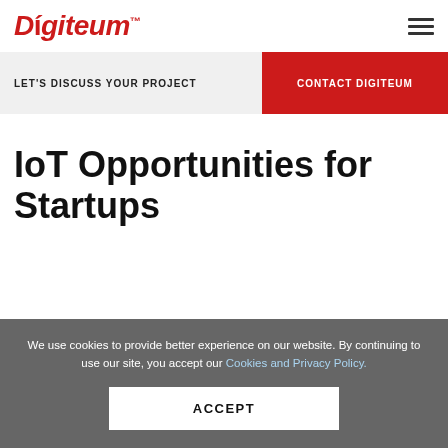Digiteum
LET'S DISCUSS YOUR PROJECT
CONTACT DIGITEUM
IoT Opportunities for Startups
We use cookies to provide better experience on our website. By continuing to use our site, you accept our Cookies and Privacy Policy.
ACCEPT